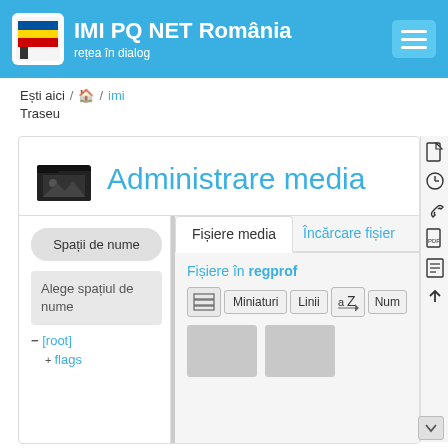IMI PQ NET România — rețea în dialog
Ești aici / 🏠 / imi
Traseu
Administrare media
Fișiere media | Încărcare fișier
Spații de nume
Alege spațiul de nume
− [root]
  + flags
Fișiere în regprof
Miniaturi  Linii  Num